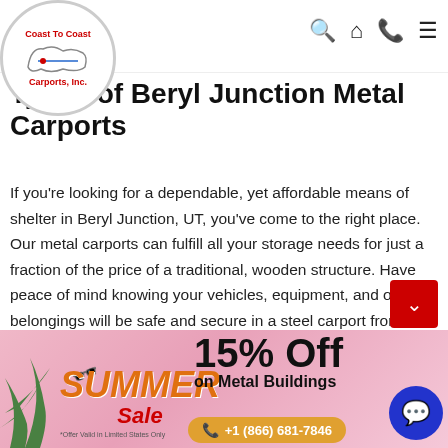Coast To Coast Carports, Inc.
Types of Beryl Junction Metal Carports
If you're looking for a dependable, yet affordable means of shelter in Beryl Junction, UT, you've come to the right place. Our metal carports can fulfill all your storage needs for just a fraction of the price of a traditional, wooden structure. Have peace of mind knowing your vehicles, equipment, and other belongings will be safe and secure in a steel carport from Coast to Coast.
[Figure (infographic): Summer Sale banner with 15% Off on Metal Buildings and phone number +1 (866) 681-7846]